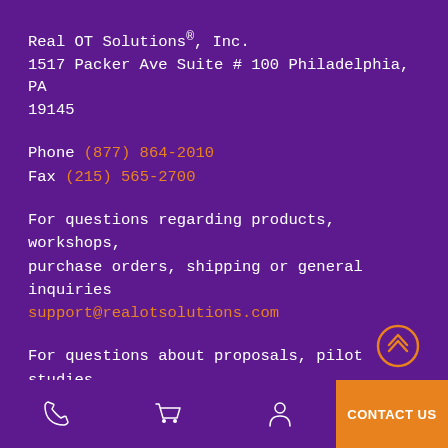Real OT Solutions®, Inc.
1517 Packer Ave Suite # 100 Philadelphia, PA 19145
Phone (877) 864-2010
Fax (215) 565-2700
For questions regarding products, workshops, purchase orders, shipping or general inquiries support@realotsolutions.com
For questions about proposals, pilot studies, research, etc. bev@realotsolutions.com
[Figure (other): Scroll-up button with double chevron icon in orange circle]
[Figure (other): Footer navigation bar with phone icon, shopping cart icon, person icon, and orange CONTACT US button]